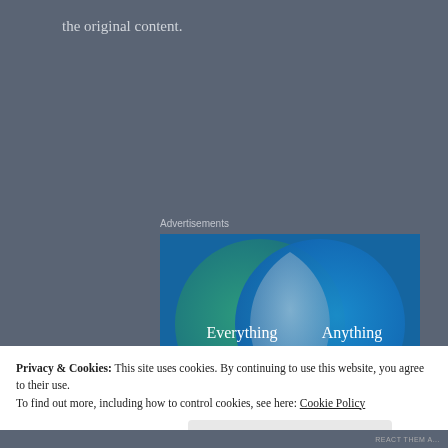the original content.
Advertisements
[Figure (infographic): Venn diagram advertisement showing two overlapping circles on a blue/teal gradient background. Left circle (teal/green) contains text 'Everything you need'. Right circle (blue) contains text 'Anything you want'. The overlapping region shows a lighter blue-grey lens shape.]
Privacy & Cookies: This site uses cookies. By continuing to use this website, you agree to their use.
To find out more, including how to control cookies, see here: Cookie Policy
Close and accept